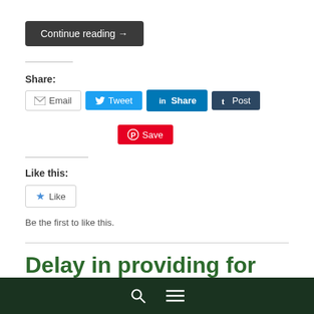Continue reading →
Share:
Email  Tweet  Share  Post  Save
Like this:
Like
Be the first to like this.
Delay in providing for special educational needs
navigation bar with search and menu icons